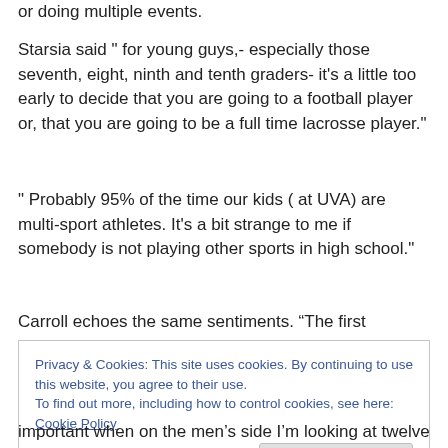or doing multiple events.
Starsia said " for young guys,- especially those seventh, eight, ninth and tenth graders- it's a little too early to decide that you are going to a football player or, that you are going to be a full time lacrosse player."
" Probably 95% of the time our kids ( at UVA) are multi-sport athletes. It's a bit strange to me if somebody is not playing other sports in high school."
Carroll echoes the same sentiments. “The first question I
Privacy & Cookies: This site uses cookies. By continuing to use this website, you agree to their use.
To find out more, including how to control cookies, see here: Cookie Policy
Close and accept
important when on the men’s side I’m looking at twelve